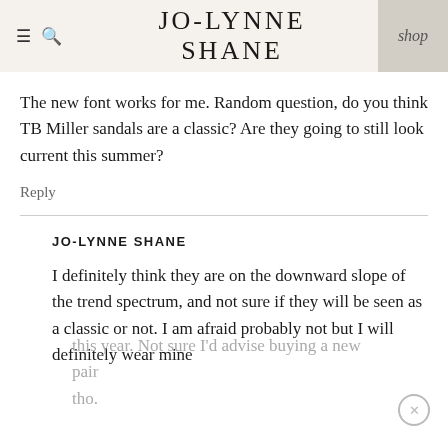JO-LYNNE SHANE | shop
The new font works for me. Random question, do you think TB Miller sandals are a classic? Are they going to still look current this summer?
Reply
JO-LYNNE SHANE
I definitely think they are on the downward slope of the trend spectrum, and not sure if they will be seen as a classic or not. I am afraid probably not but I will definitely wear mine this year. Not sure I'd advise buying a new pair tho.